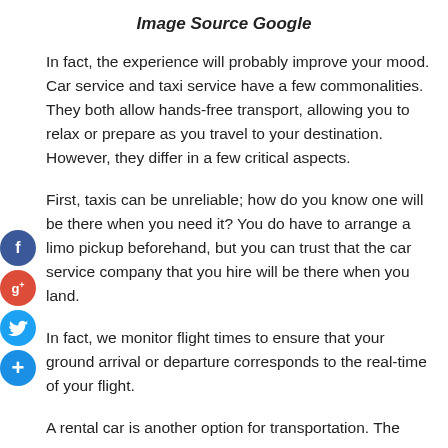Image Source Google
In fact, the experience will probably improve your mood. Car service and taxi service have a few commonalities. They both allow hands-free transport, allowing you to relax or prepare as you travel to your destination. However, they differ in a few critical aspects.
First, taxis can be unreliable; how do you know one will be there when you need it? You do have to arrange a limo pickup beforehand, but you can trust that the car service company that you hire will be there when you land.
In fact, we monitor flight times to ensure that your ground arrival or departure corresponds to the real-time of your flight.
A rental car is another option for transportation. The